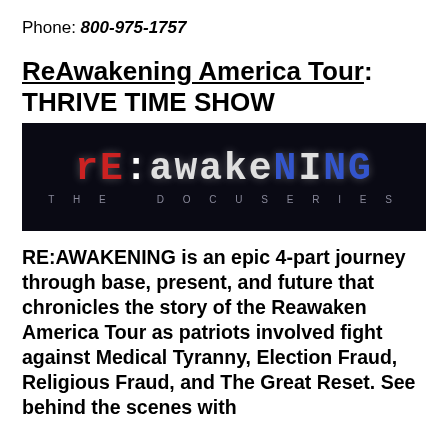Phone: 800-975-1757
ReAwakening America Tour: THRIVE TIME SHOW
[Figure (photo): Dark background image with stylized 'rE:awakeNING' text in red and blue LED-style font, with 'THE DOCUSERIES' text below in spaced gray letters]
RE:AWAKENING is an epic 4-part journey through base, present, and future that chronicles the story of the Reawaken America Tour as patriots involved fight against Medical Tyranny, Election Fraud, Religious Fraud, and The Great Reset. See behind the scenes with